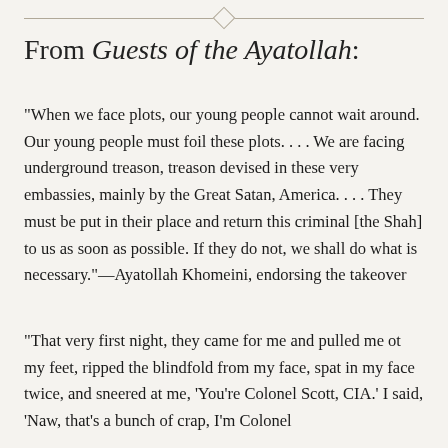From Guests of the Ayatollah:
“When we face plots, our young people cannot wait around. Our young people must foil these plots. . . . We are facing underground treason, treason devised in these very embassies, mainly by the Great Satan, America. . . . They must be put in their place and return this criminal [the Shah] to us as soon as possible. If they do not, we shall do what is necessary.”—Ayatollah Khomeini, endorsing the takeover
“That very first night, they came for me and pulled me ot my feet, ripped the blindfold from my face, spat in my face twice, and sneered at me, ‘You’re Colonel Scott, CIA.’ I said, ‘Naw, that’s a bunch of crap, I’m Colonel